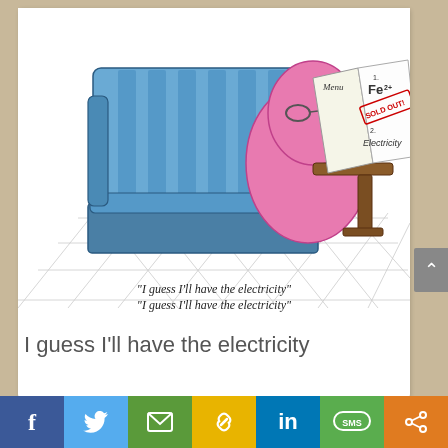[Figure (illustration): A cartoon illustration of a pink kidney-shaped character (resembling a kidney) sitting in a blue diner booth, reading a menu. The menu shows item 1: Fe2+ with 'SOLD OUT!' stamped in red, and item 2: Electricity. There is a brown table next to the booth. The floor has a tile pattern. Caption inside the image reads: "I guess I'll have the electricity"]
"I guess I'll have the electricity"
I guess I'll have the electricity